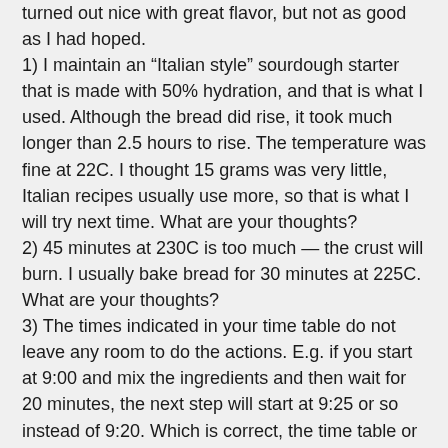turned out nice with great flavor, but not as good as I had hoped.
1) I maintain an “Italian style” sourdough starter that is made with 50% hydration, and that is what I used. Although the bread did rise, it took much longer than 2.5 hours to rise. The temperature was fine at 22C. I thought 15 grams was very little, Italian recipes usually use more, so that is what I will try next time. What are your thoughts?
2) 45 minutes at 230C is too much — the crust will burn. I usually bake bread for 30 minutes at 225C. What are your thoughts?
3) The times indicated in your time table do not leave any room to do the actions. E.g. if you start at 9:00 and mix the ingredients and then wait for 20 minutes, the next step will start at 9:25 or so instead of 9:20. Which is correct, the time table or the times indicated in the text?